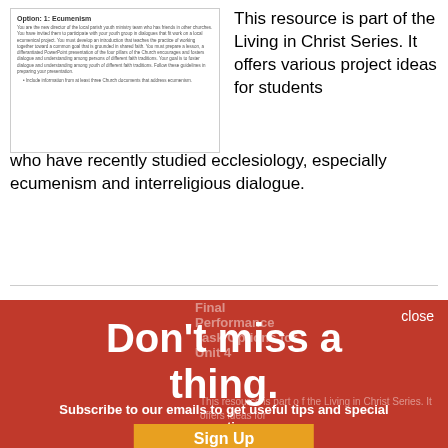[Figure (screenshot): Thumbnail of a document titled 'Option: 1: Ecumenism' with body text and a bullet point about Church documents]
This resource is part of the Living in Christ Series. It offers various project ideas for students who have recently studied ecclesiology, especially ecumenism and interreligious dialogue.
[Figure (screenshot): Red overlay popup with text 'Don't miss a thing. Subscribe to our emails to get useful tips and special promotions.' with a Sign Up button, overlaid on a page listing Final Performance Task Options for Unit 4]
Don't miss a thing.
Subscribe to our emails to get useful tips and special promotions.